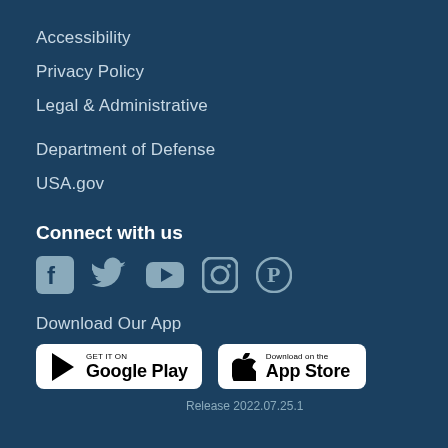Accessibility
Privacy Policy
Legal & Administrative
Department of Defense
USA.gov
Connect with us
[Figure (illustration): Social media icons: Facebook, Twitter, YouTube, Instagram, Pinterest]
Download Our App
[Figure (illustration): Google Play and Apple App Store download buttons]
Release 2022.07.25.1